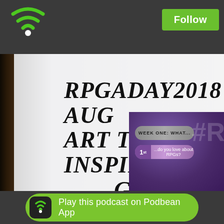[Figure (logo): Green WiFi/podcast icon in top-left of dark header bar]
Follow
RPGADAY2018 AUGUST 18th ART THAT INSPIRES YOUR GAME
September 7th, 2018
#RPGADAY2018 AUGUST 18th ART THAT INSPIRES YOUR GAME
Check out http://zombierodentproductions.daportfolio.com/
[Figure (screenshot): RPGaDay 2018 promotional banner showing Week One: WHAT... and Day 1: ...do you love about RPGs? with purple/grey design and hashtag #R]
Play this podcast on Podbean App